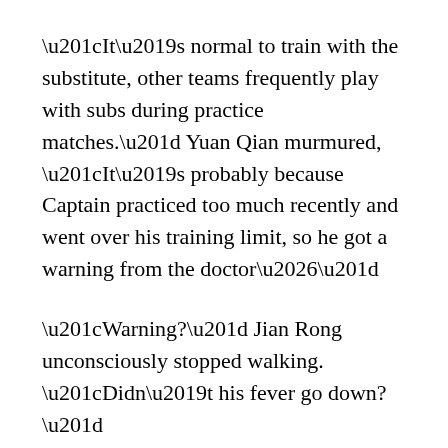“It’s normal to train with the substitute, other teams frequently play with subs during practice matches.” Yuan Qian murmured, “It’s probably because Captain practiced too much recently and went over his training limit, so he got a warning from the doctor…”
“Warning?” Jian Rong unconsciously stopped walking. “Didn’t his fever go down?”
Yuan Qian’s smile froze. Only then did he remember that Jian Rong still didn’t know about the captain’s hand injury.
Although it wasn’t like this was some big secret